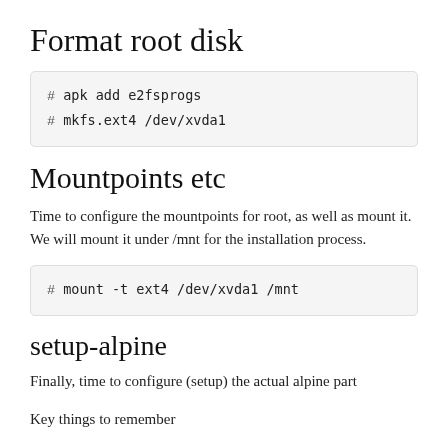Format root disk
# apk add e2fsprogs
# mkfs.ext4 /dev/xvda1
Mountpoints etc
Time to configure the mountpoints for root, as well as mount it. We will mount it under /mnt for the installation process.
# mount -t ext4 /dev/xvda1 /mnt
setup-alpine
Finally, time to configure (setup) the actual alpine part
Key things to remember